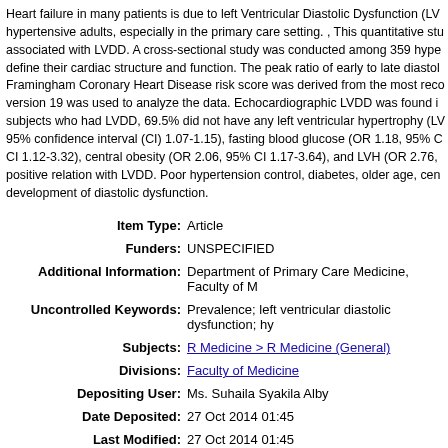Heart failure in many patients is due to left Ventricular Diastolic Dysfunction (LV hypertensive adults, especially in the primary care setting. , This quantitative stu associated with LVDD. A cross-sectional study was conducted among 359 hype define their cardiac structure and function. The peak ratio of early to late diastol Framingham Coronary Heart Disease risk score was derived from the most rece version 19 was used to analyze the data. Echocardiographic LVDD was found i subjects who had LVDD, 69.5% did not have any left ventricular hypertrophy (LV 95% confidence interval (CI) 1.07-1.15), fasting blood glucose (OR 1.18, 95% C CI 1.12-3.32), central obesity (OR 2.06, 95% CI 1.17-3.64), and LVH (OR 2.76, positive relation with LVDD. Poor hypertension control, diabetes, older age, cen development of diastolic dysfunction.
| Field | Value |
| --- | --- |
| Item Type: | Article |
| Funders: | UNSPECIFIED |
| Additional Information: | Department of Primary Care Medicine, Faculty of M |
| Uncontrolled Keywords: | Prevalence; left ventricular diastolic dysfunction; hy |
| Subjects: | R Medicine > R Medicine (General) |
| Divisions: | Faculty of Medicine |
| Depositing User: | Ms. Suhaila Syakila Alby |
| Date Deposited: | 27 Oct 2014 01:45 |
| Last Modified: | 27 Oct 2014 01:45 |
| URI: | http://eprints.um.edu.my/id/eprint/10154 |
Actions (login required)